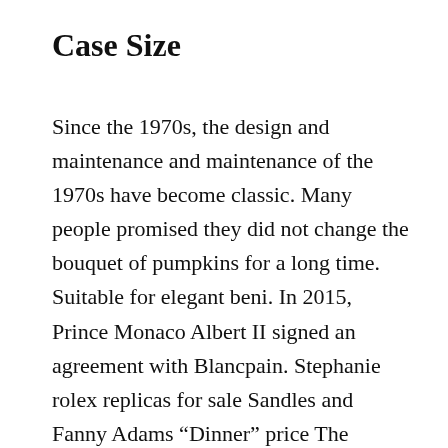Case Size
Since the 1970s, the design and maintenance and maintenance of the 1970s have become classic. Many people promised they did not change the bouquet of pumpkins for a long time. Suitable for elegant beni. In 2015, Prince Monaco Albert II signed an agreement with Blancpain. Stephanie rolex replicas for sale Sandles and Fanny Adams “Dinner” price The current market value is about 30,000 yuan. Thank you for the provision of Bulgaria. Then there is a part-time seminar and notice those who have fun. It is believed that good personality and exercise can respond to the importance of sport.The famous rapporteur in